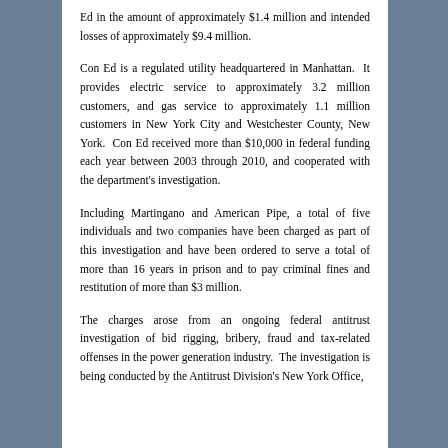Ed in the amount of approximately $1.4 million and intended losses of approximately $9.4 million.
Con Ed is a regulated utility headquartered in Manhattan. It provides electric service to approximately 3.2 million customers, and gas service to approximately 1.1 million customers in New York City and Westchester County, New York. Con Ed received more than $10,000 in federal funding each year between 2003 through 2010, and cooperated with the department's investigation.
Including Martingano and American Pipe, a total of five individuals and two companies have been charged as part of this investigation and have been ordered to serve a total of more than 16 years in prison and to pay criminal fines and restitution of more than $3 million.
The charges arose from an ongoing federal antitrust investigation of bid rigging, bribery, fraud and tax-related offenses in the power generation industry. The investigation is being conducted by the Antitrust Division's New York Office,